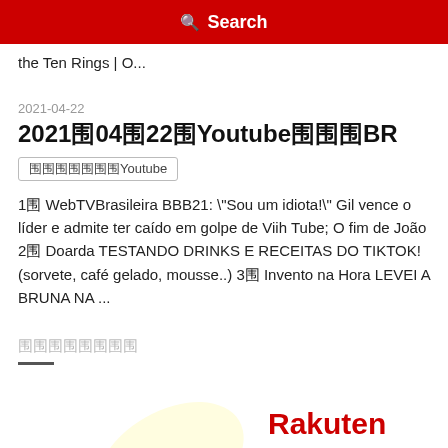🔍 Search
the Ten Rings | O...
2021-04-22
2021年04月22日YoutubeランキングBR
カテゴリー：Youtube
1位 WebTVBrasileira BBB21: "Sou um idiota!" Gil vence o líder e admite ter caído em golpe de Viih Tube; O fim de João 2位 Doarda TESTANDO DRINKS E RECEITAS DO TIKTOK! (sorvete, café gelado, mousse..) 3位 Invento na Hora LEVEI A BRUNA NA ...
カテゴリー
[Figure (logo): Rakuten logo with decorative leaf/petal shape]